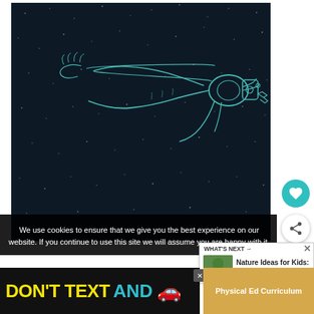[Figure (illustration): Dark space illustration showing an astronaut floating/falling in outer space with stars in the background, rendered as a line art sketch on dark navy background]
We use cookies to ensure that we give you the best experience on our website. If you continue to use this site we will assume you are happy with it.
[Figure (infographic): What's Next promo box: thumbnail of nature/green image, text 'Nature Ideas for Kids: Her...']
DON'T TEXT AND
Physical Ed Curriculum